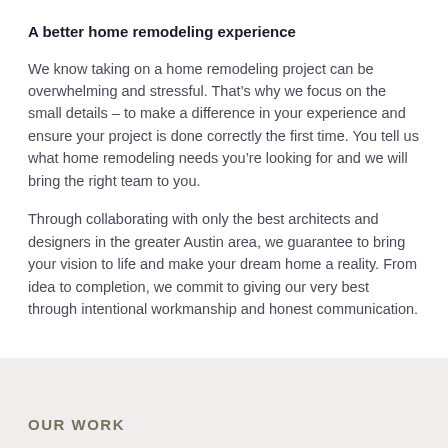A better home remodeling experience
We know taking on a home remodeling project can be overwhelming and stressful. That’s why we focus on the small details – to make a difference in your experience and ensure your project is done correctly the first time. You tell us what home remodeling needs you’re looking for and we will bring the right team to you.
Through collaborating with only the best architects and designers in the greater Austin area, we guarantee to bring your vision to life and make your dream home a reality. From idea to completion, we commit to giving our very best through intentional workmanship and honest communication.
OUR WORK